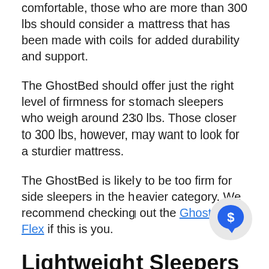comfortable, those who are more than 300 lbs should consider a mattress that has been made with coils for added durability and support.
The GhostBed should offer just the right level of firmness for stomach sleepers who weigh around 230 lbs. Those closer to 300 lbs, however, may want to look for a sturdier mattress.
The GhostBed is likely to be too firm for side sleepers in the heavier category. We recommend checking out the Ghostbed Flex if this is you.
Lightweight Sleepers (~130 lbs)